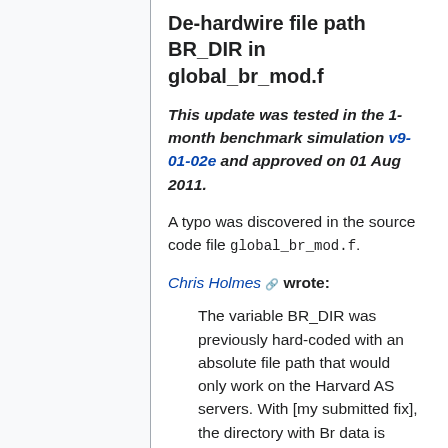De-hardwire file path BR_DIR in global_br_mod.f
This update was tested in the 1-month benchmark simulation v9-01-02e and approved on 01 Aug 2011.
A typo was discovered in the source code file global_br_mod.f.
Chris Holmes wrote:
The variable BR_DIR was previously hard-coded with an absolute file path that would only work on the Harvard AS servers. With [my submitted fix], the directory with Br data is constructed from the DATA_DIR variable (in directory_mod.f), analogous to the way most other directories are found. This should make the code run more easily on systems outside Harvard.